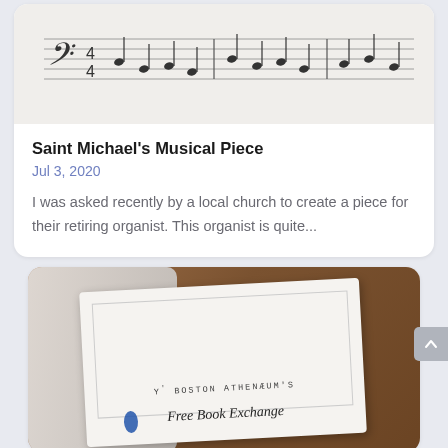[Figure (illustration): Sheet music notation showing bass clef with notes on staff lines]
Saint Michael's Musical Piece
Jul 3, 2020
I was asked recently by a local church to create a piece for their retiring organist. This organist is quite...
[Figure (photo): Photo of a book or pamphlet on a wooden table reading "Y' BOSTON ATHENAEUMS Free Book Exchange"]